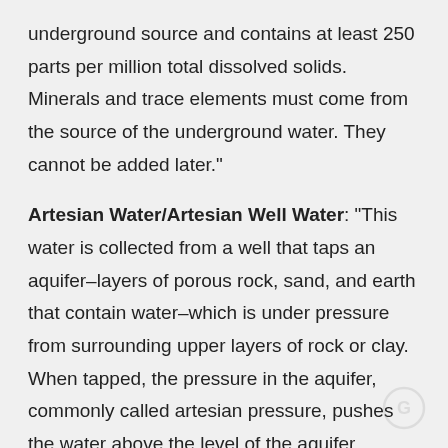underground source and contains at least 250 parts per million total dissolved solids. Minerals and trace elements must come from the source of the underground water. They cannot be added later."
Artesian Water/Artesian Well Water: "This water is collected from a well that taps an aquifer–layers of porous rock, sand, and earth that contain water–which is under pressure from surrounding upper layers of rock or clay. When tapped, the pressure in the aquifer, commonly called artesian pressure, pushes the water above the level of the aquifer, sometimes to the surface. Other means may be used to help bring the water to the surface."